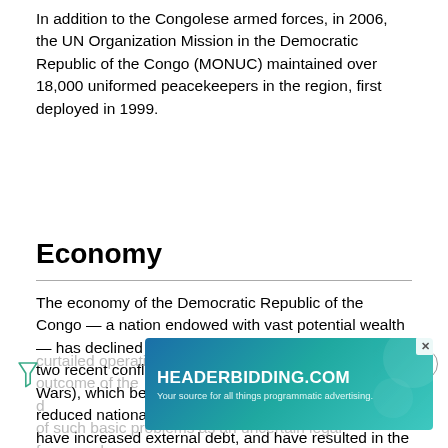In addition to the Congolese armed forces, in 2006, the UN Organization Mission in the Democratic Republic of the Congo (MONUC) maintained over 18,000 uniformed peacekeepers in the region, first deployed in 1999.
Economy
The economy of the Democratic Republic of the Congo — a nation endowed with vast potential wealth — has declined drastically since the mid-1980s. The two recent conflicts (the First and Second Congo Wars), which began in 1996, have dramatically reduced national output and government revenue, have increased external debt, and have resulted in the deaths from war, famine, and disease of perhaps 3.8 million people. Foreign businesses have curtailed operations due to uncertainty about the outcome of the d[ad overlay]...operations [ad overlay]...ct of such basic problems as an uncertain legal framework,
[Figure (other): Advertisement banner for HEADERBIDDING.COM with tagline 'Your source for all things programmatic advertising.' with teal/blue gradient background. An 'X' close button appears in top right. A filter/funnel icon appears on the left side of the page near the ad. A circular close button with X appears in the upper right area.]